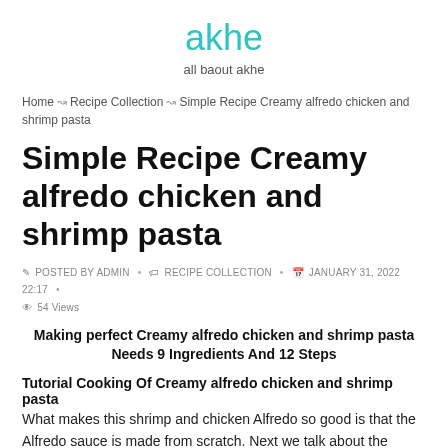akhe
all baout akhe
Home → Recipe Collection → Simple Recipe Creamy alfredo chicken and shrimp pasta
Simple Recipe Creamy alfredo chicken and shrimp pasta
POSTED BY ADMIN • RECIPE COLLECTION • JANUARY 31, 2022 22:17 • 54 Views
Making perfect Creamy alfredo chicken and shrimp pasta Needs 9 Ingredients And 12 Steps
Tutorial Cooking Of Creamy alfredo chicken and shrimp pasta
What makes this shrimp and chicken Alfredo so good is that the Alfredo sauce is made from scratch. Next we talk about the shrimp